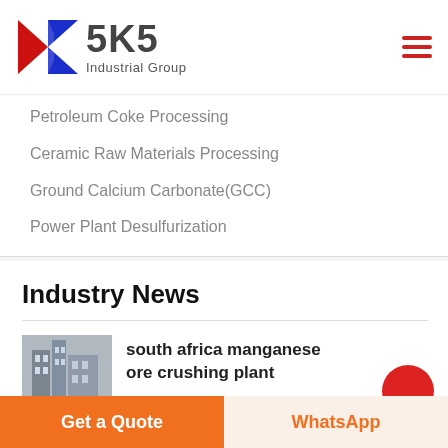[Figure (logo): SKS Industrial Group logo with red and blue K emblem and bold SKS text]
Petroleum Coke Processing
Ceramic Raw Materials Processing
Ground Calcium Carbonate(GCC)
Power Plant Desulfurization
Industry News
[Figure (photo): Industrial plant building photograph thumbnail]
south africa manganese ore crushing plant
Get a Quote
WhatsApp